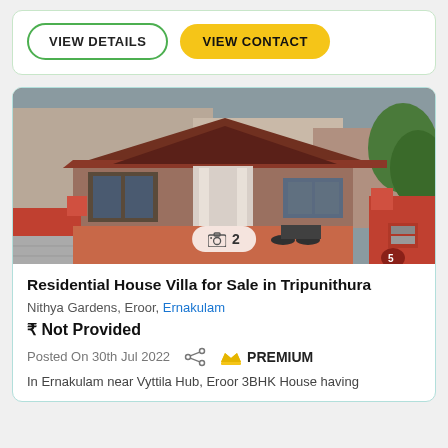VIEW DETAILS | VIEW CONTACT
[Figure (photo): Exterior photo of a residential house villa showing a red-tiled roof bungalow with red compound walls, a motorcycle parked inside, and trees in the background. Photo counter badge shows camera icon and '2'.]
Residential House Villa for Sale in Tripunithura
Nithya Gardens, Eroor, Ernakulam
₹ Not Provided
Posted On 30th Jul 2022  PREMIUM
In Ernakulam near Vyttila Hub, Eroor 3BHK House having